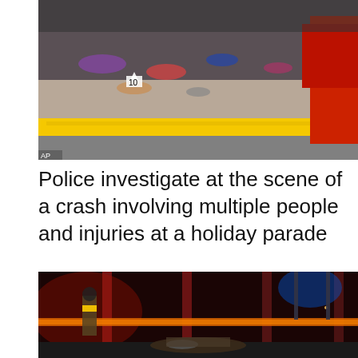[Figure (photo): Daytime crime scene photo showing debris, clothing, and items scattered on a sidewalk behind yellow police tape. A red vehicle is partially visible on the right. 'AP' watermark in bottom left corner.]
Police investigate at the scene of a crash involving multiple people and injuries at a holiday parade
[Figure (photo): Nighttime crime scene photo showing debris and wreckage on a dark street, with orange police tape stretched across the foreground, and red and blue lighting in the background. A police officer in yellow vest is partially visible on the left.]